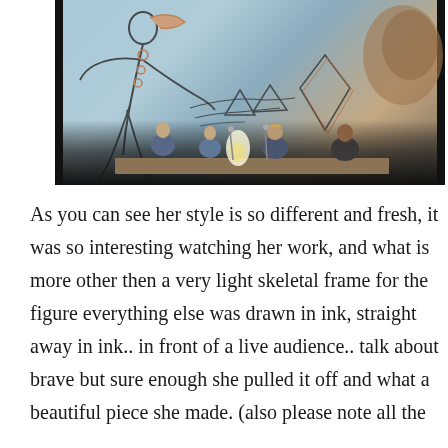[Figure (photo): A panel discussion photo showing several people seated at a table in a darkened room, with a large projection screen behind them displaying hand-drawn illustration artwork featuring a figure and geometric shapes in a sketch-like style with blue and brown tones.]
As you can see her style is so different and fresh, it was so interesting watching her work, and what is more other then a very light skeletal frame for the figure everything else was drawn in ink, straight away in ink.. in front of a live audience.. talk about brave but sure enough she pulled it off and what a beautiful piece she made. (also please note all the